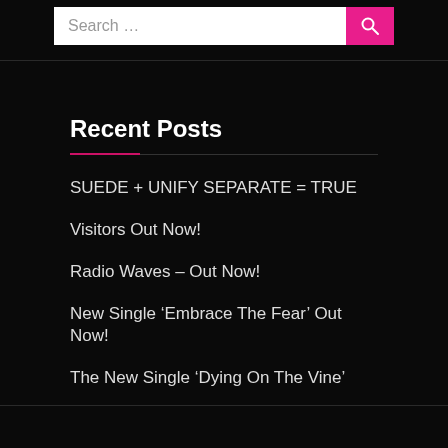Search …
Recent Posts
SUEDE + UNIFY SEPARATE = TRUE
Visitors Out Now!
Radio Waves – Out Now!
New Single ‘Embrace The Fear’ Out Now!
The New Single ‘Dying On The Vine’